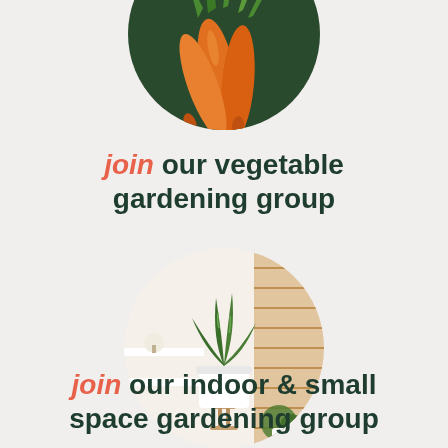[Figure (photo): Circle-cropped photo of a bunch of fresh orange carrots with green tops, held against a blurred green outdoor background.]
join our vegetable gardening group
[Figure (photo): Circle-cropped photo of an indoor plant (snake plant) in a white pot on a wooden stand, set against a bright white room with wooden blinds and a small green plant nearby.]
join our indoor & small space gardening group